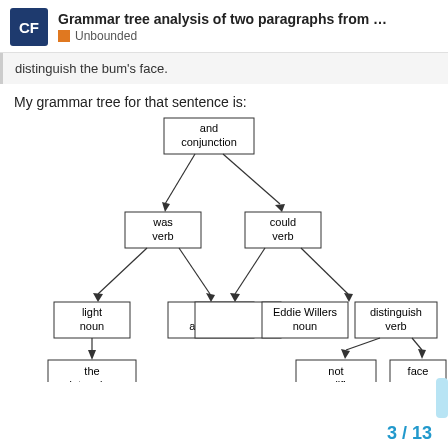Grammar tree analysis of two paragraphs from ... | Unbounded
distinguish the bum's face.
My grammar tree for that sentence is:
[Figure (flowchart): Grammar tree diagram showing: 'and conjunction' at root, branching to 'was verb' (left) and 'could verb' (right). 'was verb' branches to 'light noun' and 'ebbing adjective'. 'light noun' branches to 'the determiner'. 'could verb' branches to 'Eddie Willers noun' and 'distinguish verb'. 'distinguish verb' branches to 'not modifier' and 'face noun'.]
3 / 13